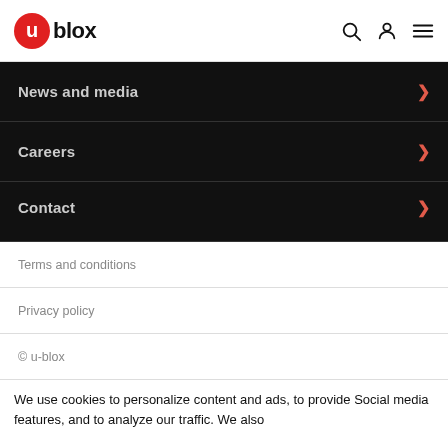u-blox
News and media
Careers
Contact
Terms and conditions
Privacy policy
© u-blox
We use cookies to personalize content and ads, to provide Social media features, and to analyze our traffic. We also